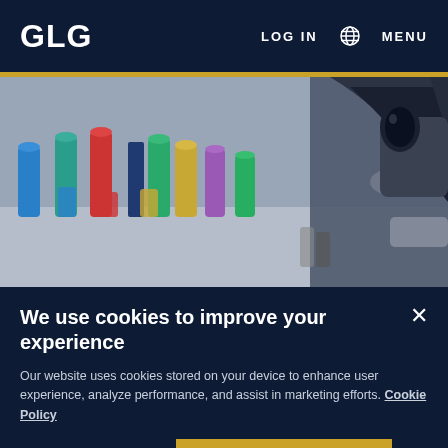GLG   LOG IN   MENU
[Figure (photo): Close-up photo of colorful sample tubes or reagent containers (blue, green, red, yellow, purple) arranged in rows, with a black microscope objective in focus on the right side. Laboratory setting.]
We use cookies to improve your experience
Our website uses cookies stored on your device to enhance user experience, analyze performance, and assist in marketing efforts. Cookie Policy
Manage Cookies
Accept Cookies